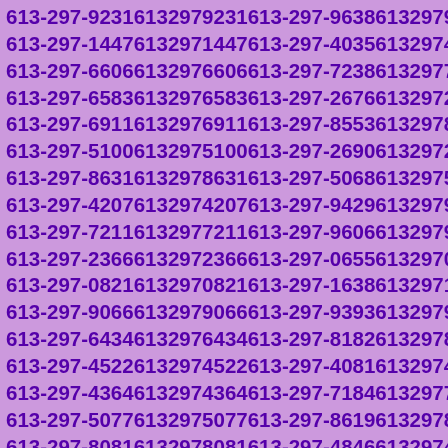613-297-9231 6132979231 613-297-9638 6132979638
613-297-1447 6132971447 613-297-4035 6132974035
613-297-6606 6132976606 613-297-7238 6132977238
613-297-6583 6132976583 613-297-2676 6132972676
613-297-6911 6132976911 613-297-8553 6132978553
613-297-5100 6132975100 613-297-2690 6132972690
613-297-8631 6132978631 613-297-5068 6132975068
613-297-4207 6132974207 613-297-9429 6132979429
613-297-7211 6132977211 613-297-9606 6132979606
613-297-2366 6132972366 613-297-0655 6132970655
613-297-0821 6132970821 613-297-1638 6132971638
613-297-9066 6132979066 613-297-9393 6132979393
613-297-6434 6132976434 613-297-8182 6132978182
613-297-4522 6132974522 613-297-4081 6132974081
613-297-4364 6132974364 613-297-7184 6132977184
613-297-5077 6132975077 613-297-8619 6132978619
613-297-8081 6132978081 613-297-4846 6132974846
613-297-0366 6132970366 613-297-9405 6132979405
613-297-5053 6132975053 613-297-5064 6132975064
613-297-0190 6132970190 613-297-0752 6132970752
613-297-7599 6132977599 613-297-6759 6132976759